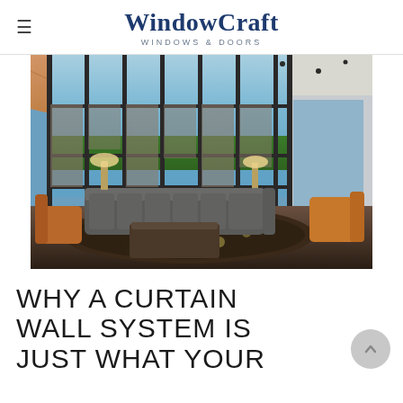WindowCraft WINDOWS & DOORS
[Figure (photo): Interior photo of a luxury living room with floor-to-ceiling curtain wall windows overlooking a lake. Vaulted wood-paneled ceiling, large sectional sofa, leather chairs, patterned rug.]
WHY A CURTAIN WALL SYSTEM IS JUST WHAT YOUR